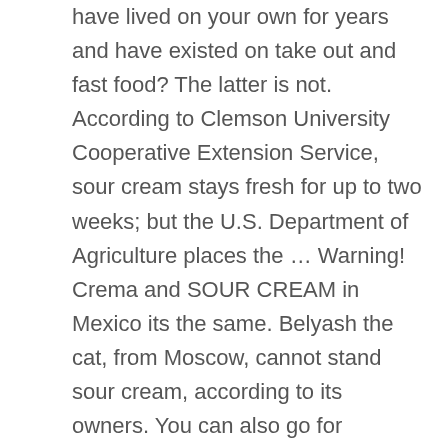have lived on your own for years and have existed on take out and fast food? The latter is not. According to Clemson University Cooperative Extension Service, sour cream stays fresh for up to two weeks; but the U.S. Department of Agriculture places the … Warning! Crema and SOUR CREAM in Mexico its the same. Belyash the cat, from Moscow, cannot stand sour cream, according to its owners. You can also go for partially fermented cream (sour cream) which contains less lactose than the unfermented cream. Sour cream makes a great addition to baked goods, thanks to its creamy mouthfeel and pleasant acidity. But at the end it will be the same. I'm going to over-analyze this. If the sour cream has been in the refrigerator for a while, it may look and smell fresh to you but still harbor unsafe bacteria. Despite its high fat content, this delicious food has its place in a